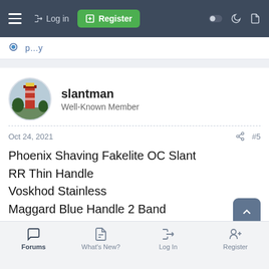Log in | Register
slantman
Well-Known Member
Oct 24, 2021 #5
Phoenix Shaving Fakelite OC Slant
RR Thin Handle
Voskhod Stainless
Maggard Blue Handle 2 Band
Martin De Candre Fougere
Aloe Vera
Dana Canoe
Forums | What's New? | Log In | Register